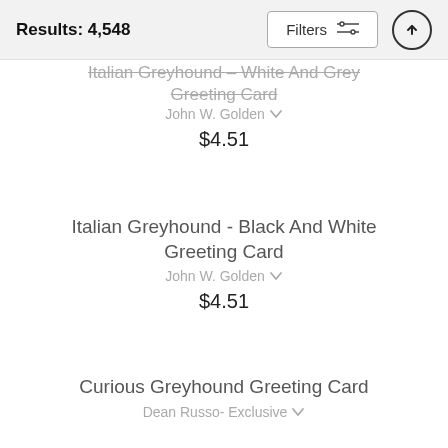Results: 4,548
Italian Greyhound - White And Grey Greeting Card
John W. Golden
$4.51
Italian Greyhound - Black And White Greeting Card
John W. Golden
$4.51
Curious Greyhound Greeting Card
Dean Russo- Exclusive